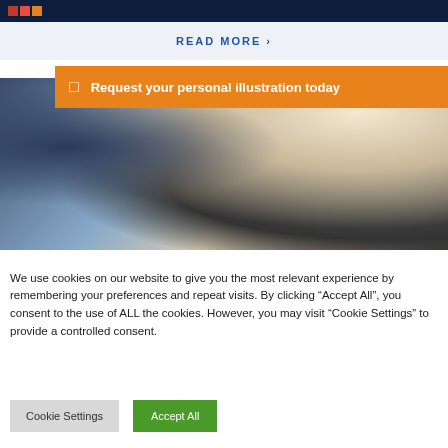READ MORE ›
Request your personal illustration today
[Figure (photo): Two businessmen shaking hands in an office setting]
We use cookies on our website to give you the most relevant experience by remembering your preferences and repeat visits. By clicking "Accept All", you consent to the use of ALL the cookies. However, you may visit "Cookie Settings" to provide a controlled consent.
Cookie Settings
Accept All